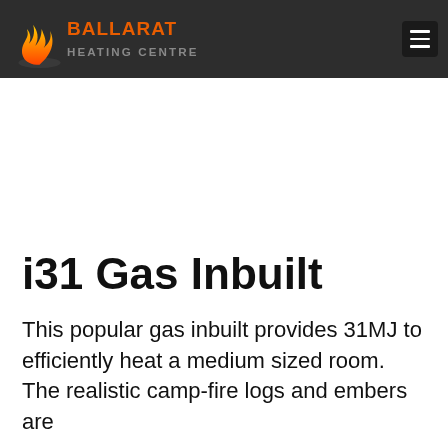Ballarat Heating Centre
i31 Gas Inbuilt
This popular gas inbuilt provides 31MJ to efficiently heat a medium sized room. The realistic camp-fire logs and embers are